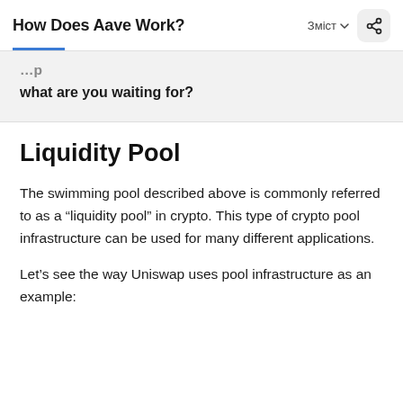How Does Aave Work?
what are you waiting for?
Liquidity Pool
The swimming pool described above is commonly referred to as a “liquidity pool” in crypto. This type of crypto pool infrastructure can be used for many different applications.
Let’s see the way Uniswap uses pool infrastructure as an example: